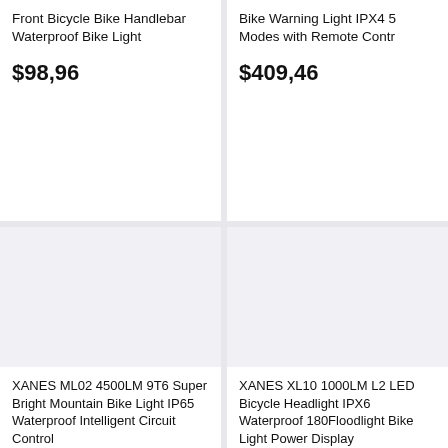Front Bicycle Bike Handlebar Waterproof Bike Light
$98,96
Bike Warning Light IPX4 5 Modes with Remote Contr
$409,46
[Figure (photo): Product image area (blank/white) for XANES ML02 bike light]
XANES ML02 4500LM 9T6 Super Bright Mountain Bike Light IP65 Waterproof Intelligent Circuit Control
$126,00
[Figure (photo): Product image area (blank/white) for XANES XL10 bike light]
XANES XL10 1000LM L2 LED Bicycle Headlight IPX6 Waterproof 180Floodlight Bike Light Power Display
$94,46